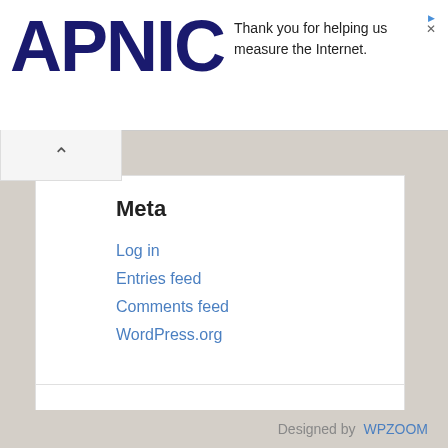[Figure (logo): APNIC logo in dark navy blue large bold text]
Thank you for helping us measure the Internet.
Meta
Log in
Entries feed
Comments feed
WordPress.org
Copyright © 2022 Return to Now. All Rights Reserved. Privacy Policy.
Designed by WPZOOM